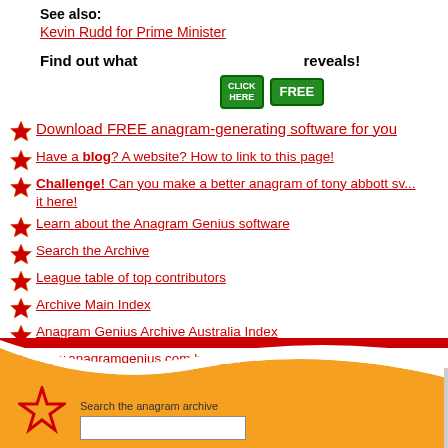See also:
Kevin Rudd for Prime Minister
Find out what … reveals!
Download FREE anagram-generating software for you
Have a blog? A website? How to link to this page!
Challenge! Can you make a better anagram of tony abbott sv... it here!
Learn about the Anagram Genius software
Search the Archive
League table of top contributors
Archive Main Index
Anagram Genius Archive Australia Index
www.anagramgenius.com home page
Search the anagram archive